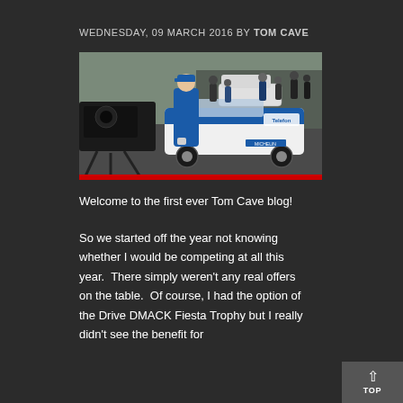WEDNESDAY, 09 MARCH 2016 BY TOM CAVE
[Figure (photo): A young rally driver in a blue racing suit and cap stands next to a white Ford Fiesta rally car with blue sponsor livery including Telefon branding and Michelin tires, with TV camera crew and spectators in the background.]
Welcome to the first ever Tom Cave blog!
So we started off the year not knowing whether I would be competing at all this year.  There simply weren't any real offers on the table.  Of course, I had the option of the Drive DMACK Fiesta Trophy but I really didn't see the benefit for